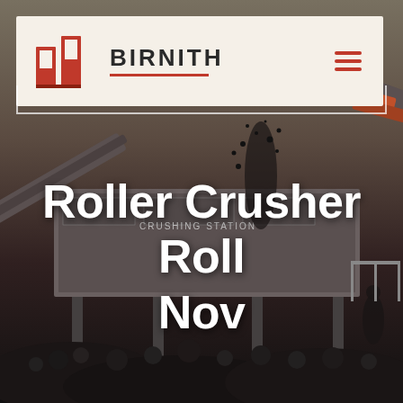[Figure (photo): Industrial roller crusher / crushing station machinery with conveyor belt and piles of crushed rock/coal in the background, dark moody industrial photograph]
BIRNITH
Roller Crusher Roll Nov